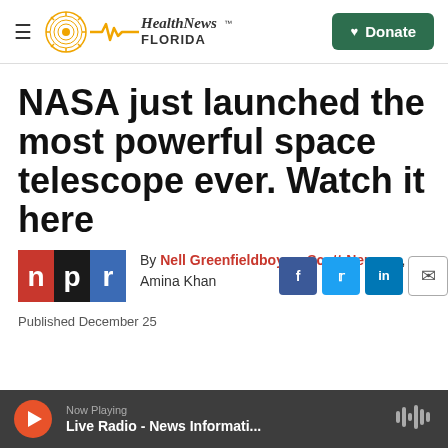Health News Florida — Donate
NASA just launched the most powerful space telescope ever. Watch it here
[Figure (logo): NPR logo — red background with 'n p r' letters in black and blue squares]
By Nell Greenfieldboyce, Scott Neuman, Amina Khan
Published December 25
Now Playing
Live Radio - News Informati...